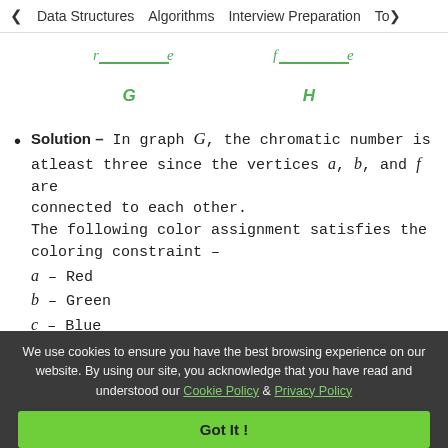< Data Structures   Algorithms   Interview Preparation   Top>
[Figure (engineering-diagram): Two graph diagrams side by side. Left graph labeled G with vertices r, e connected by a horizontal line above, and below vertex G. Right graph labeled H with vertices f, e connected by a horizontal line above, and below vertex H. Vertices shown in green.]
Solution – In graph G, the chromatic number is atleast three since the vertices a, b, and f are connected to each other.
The following color assignment satisfies the coloring constraint –
a – Red
b – Green
c – Blue